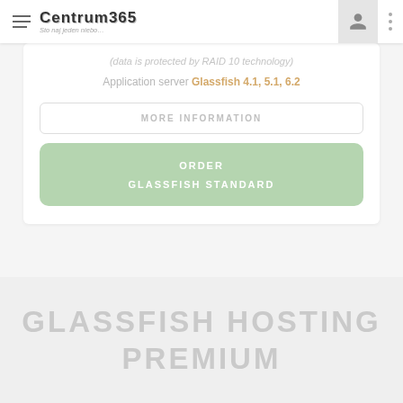Centrum365 — navigation header
(data is protected by RAID 10 technology)
Application server Glassfish 4.1, 5.1, 6.2
MORE INFORMATION
ORDER GLASSFISH STANDARD
GLASSFISH HOSTING PREMIUM